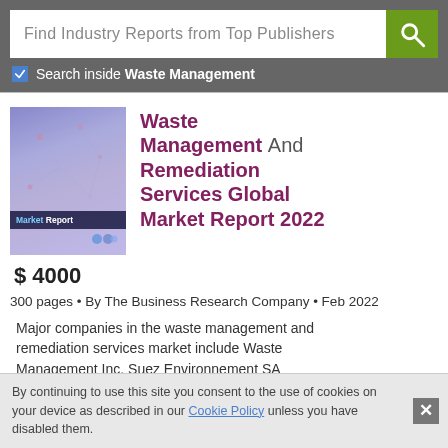Find Industry Reports from Top Publishers
Search inside Waste Management
Waste Management And Remediation Services Global Market Report 2022
$ 4000
300 pages • By The Business Research Company • Feb 2022
Major companies in the waste management and remediation services market include Waste Management Inc. Suez Environnement SA
By continuing to use this site you consent to the use of cookies on your device as described in our Cookie Policy unless you have disabled them.